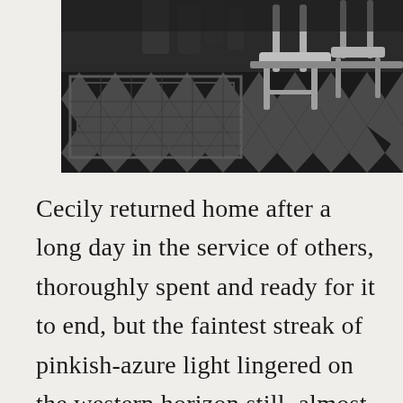[Figure (photo): Black and white photograph of a diner or cafe interior showing a checkered tile floor with a rectangular mat pattern, and light-colored wooden chairs visible on the right side.]
Cecily returned home after a long day in the service of others, thoroughly spent and ready for it to end, but the faintest streak of pinkish-azure light lingered on the western horizon still, almost mockingly; she could not appreciate the beauty of the moment in her